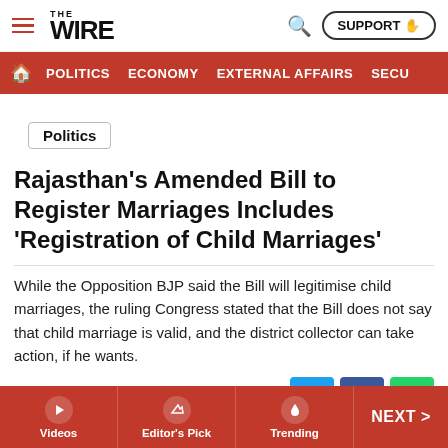THE WIRE — SUPPORT
POLITICS   ECONOMY   EXTERNAL AFFAIRS   SECU
Politics
Rajasthan's Amended Bill to Register Marriages Includes 'Registration of Child Marriages'
While the Opposition BJP said the Bill will legitimise child marriages, the ruling Congress stated that the Bill does not say that child marriage is valid, and the district collector can take action, if he wants.
Sep 18, 2021 | The Wire Staff
Representative image of a child bride. Photo: Reuters
Videos   Editor's Pick   Trending   NEXT >